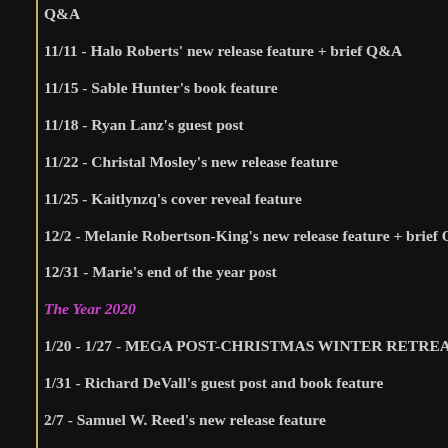Q&A
11/11 - Halo Roberts' new release feature + brief Q&A
11/15 - Sable Hunter's book feature
11/18 - Ryan Lanz's guest post
11/22 - Christal Mosley's new release feature
11/25 - Kaitlynzq's cover reveal feature
12/2 - Melanie Robertson-King's new release feature + brief Q&A
12/31 - Marie's end of the year post
The Year 2020
1/20 - 1/27 - MEGA POST-CHRISTMAS WINTER RETREAT GIVEAWAY
1/31 - Richard DeVall's guest post and book feature
2/7 - Samuel W. Reed's new release feature